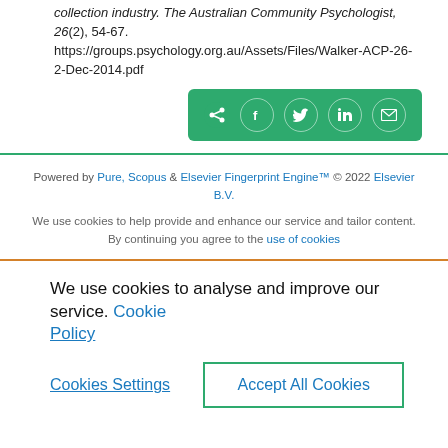collection industry. The Australian Community Psychologist, 26(2), 54-67. https://groups.psychology.org.au/Assets/Files/Walker-ACP-26-2-Dec-2014.pdf
[Figure (screenshot): Green share button with social media icons: share, Facebook, Twitter, LinkedIn, email]
Powered by Pure, Scopus & Elsevier Fingerprint Engine™ © 2022 Elsevier B.V.
We use cookies to help provide and enhance our service and tailor content. By continuing you agree to the use of cookies
We use cookies to analyse and improve our service. Cookie Policy
Cookies Settings
Accept All Cookies